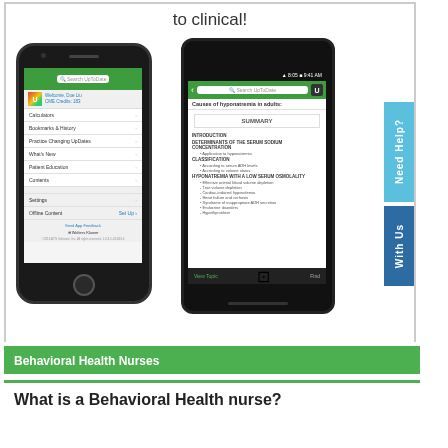to clinical!
[Figure (photo): Two smartphone screenshots showing the UpToDate mobile app — an iPhone showing the main menu (Calculators, Bookmarks & History, Practice Changing UpDates, What's New, Patient Education, Contents, Settings, Offline Content) and an Android phone showing a clinical topic page on Causes of hyponatremia in adults with table of contents sections (Introduction, Determinants of the serum sodium concentration, Classification, Hyponatremia with a low serum osmolality, etc.)]
Behavioral Health Nurses
What is a Behavioral Health nurse?